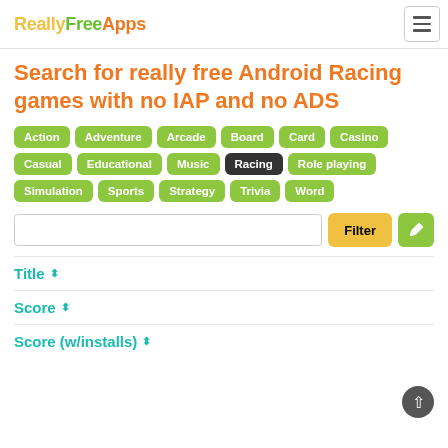ReallyFreeApps
Search for really free Android Racing games with no IAP and no ADS
Action
Adventure
Arcade
Board
Card
Casino
Casual
Educational
Music
Racing
Role playing
Simulation
Sports
Strategy
Trivia
Word
Filter
Title ⬍
Score ⬍
Score (w/installs) ⬍